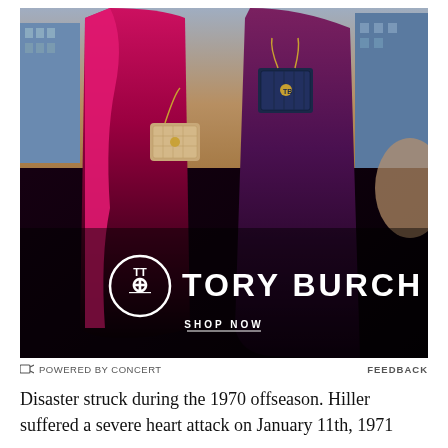[Figure (photo): Tory Burch fashion advertisement showing two models in dark capes/coats carrying designer handbags against a city backdrop, with the Tory Burch logo and 'SHOP NOW' text overlaid at the bottom of the image.]
POWERED BY CONCERT    FEEDBACK
Disaster struck during the 1970 offseason. Hiller suffered a severe heart attack on January 11th, 1971